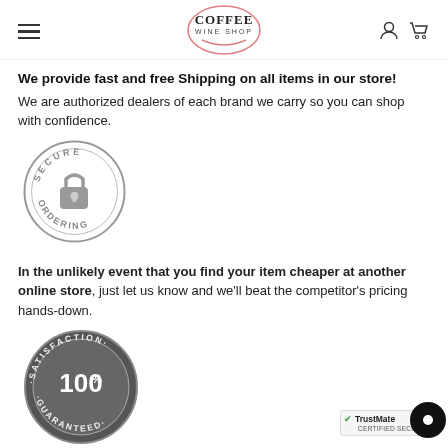COFFEE WINE SHOP
We provide fast and free Shipping on all items in our store! We are authorized dealers of each brand we carry so you can shop with confidence.
[Figure (illustration): Secure Ordering badge — circular stamp with a padlock icon and the words SECURE ORDERING]
In the unlikely event that you find your item cheaper at another online store, just let us know and we'll beat the competitor's pricing hands-down.
[Figure (illustration): 100% Satisfaction Guaranteed badge — circular stamp with 100% text]
We insist that you love everything you buy from us. If you're unhappy for any reason whatsoever, just
[Figure (logo): TrustMate CERTIFIED SECURE badge with green checkmark]